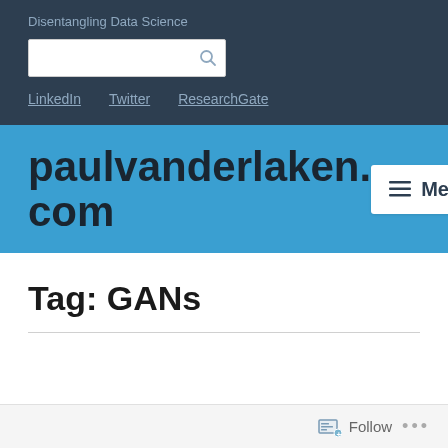Disentangling Data Science
LinkedIn   Twitter   ResearchGate
paulvanderlaken.com
Tag: GANs
Follow ...